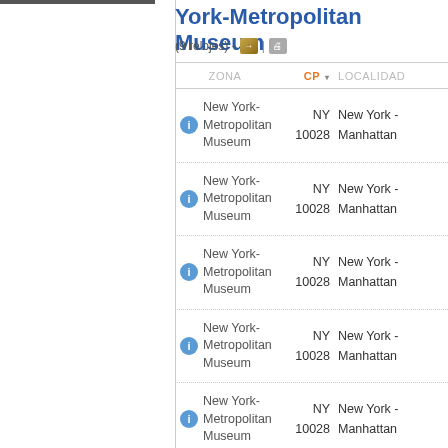York-Metropolitan Museum
(9 relojes) - | [export] | [print]
| ZONA | CP | LOCALIDAD |
| --- | --- | --- |
| New York-Metropolitan Museum | NY 10028 | New York - Manhattan |
| New York-Metropolitan Museum | NY 10028 | New York - Manhattan |
| New York-Metropolitan Museum | NY 10028 | New York - Manhattan |
| New York-Metropolitan Museum | NY 10028 | New York - Manhattan |
| New York-Metropolitan Museum | NY 10028 | New York - Manhattan |
| New York-... |  |  |